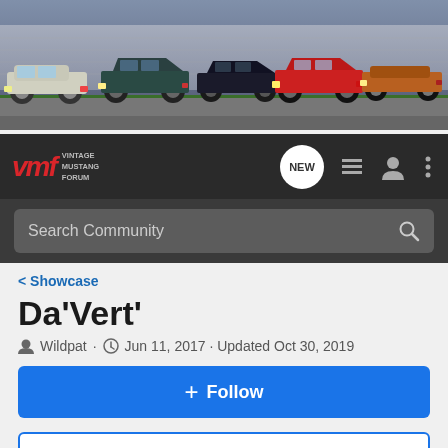[Figure (photo): Banner image showing five classic Ford Mustangs in various colors parked in front of a concrete wall with grass and road in the foreground]
VMF VINTAGE MUSTANG FORUM — navigation bar with NEW, list, user, and menu icons, and Search Community search bar
< Showcase
Da'Vert'
Wildpat · Jun 11, 2017 · Updated Oct 30, 2019
+ Follow
Hey everyone! Enter your ride HERE to be a part